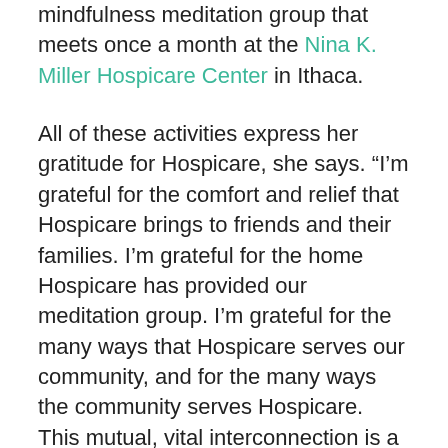mindfulness meditation group that meets once a month at the Nina K. Miller Hospicare Center in Ithaca.
All of these activities express her gratitude for Hospicare, she says. “I’m grateful for the comfort and relief that Hospicare brings to friends and their families. I’m grateful for the home Hospicare has provided our meditation group. I’m grateful for the many ways that Hospicare serves our community, and for the many ways the community serves Hospicare. This mutual, vital interconnection is a really beautiful thing.”
Pamela has had friends who have been cared for by Hospicare, and her mother-in-law also received hospice services in New York City, so she has experienced first hand the value of hospice for those who are